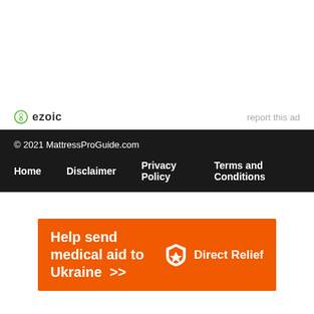[Figure (logo): Ezoic logo with green circle icon and text 'ezoic', with 'report this ad' text to the right]
© 2021 MattressProGuide.com
Home   Disclaimer   Privacy Policy   Terms and Conditions
[Figure (infographic): Direct Relief banner ad: orange background, white bold text 'Help send medical aid to Ukraine >>', Direct Relief logo (shield icon) and 'Direct Relief' text in white on right side]